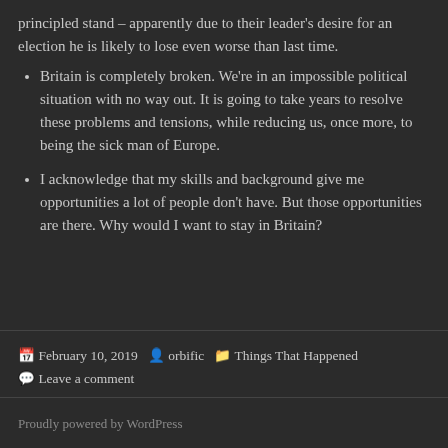principled stand – apparently due to their leader's desire for an election he is likely to lose even worse than last time.
Britain is completely broken. We're in an impossible political situation with no way out. It is going to take years to resolve these problems and tensions, while reducing us, once more, to being the sick man of Europe.
I acknowledge that my skills and background give me opportunities a lot of people don't have. But those opportunities are there. Why would I want to stay in Britain?
February 10, 2019  orbific  Things That Happened  Leave a comment
Proudly powered by WordPress